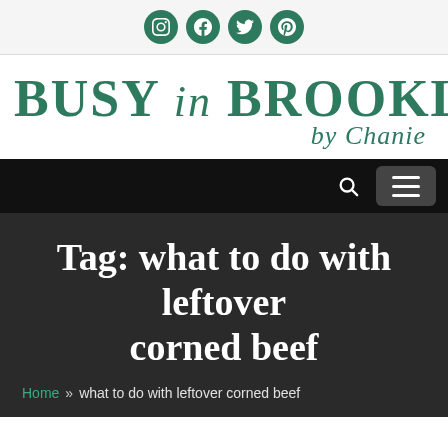Social icons: Instagram, Facebook, Twitter, Pinterest
BUSY in BROOKLYN by Chanie
Navigation bar with search and menu
Tag: what to do with leftover corned beef
Home » what to do with leftover corned beef